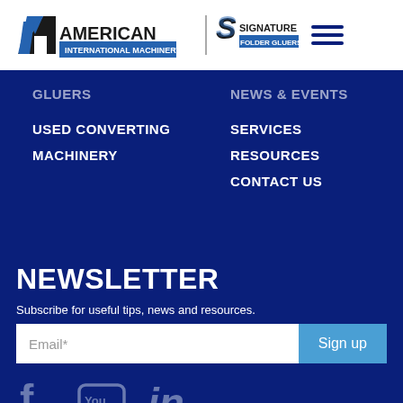[Figure (logo): American International Machinery Inc and Signature Folder Gluers logos with hamburger menu icon]
GLUERS
NEWS & EVENTS
USED CONVERTING
SERVICES
MACHINERY
RESOURCES
CONTACT US
NEWSLETTER
Subscribe for useful tips, news and resources.
Email*  Sign up
[Figure (other): Social media icons: Facebook, YouTube, LinkedIn]